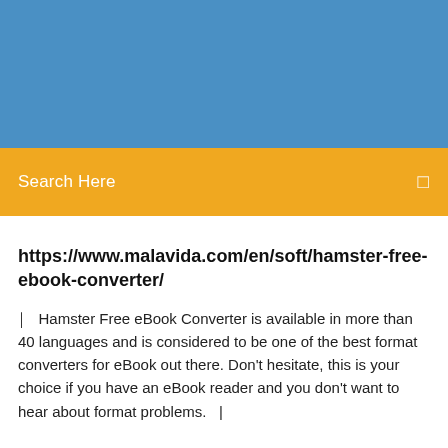[Figure (other): Solid blue header banner area]
Search Here
https://www.malavida.com/en/soft/hamster-free-ebook-converter/
Hamster Free eBook Converter is available in more than 40 languages and is considered to be one of the best format converters for eBook out there. Don't hesitate, this is your choice if you have an eBook reader and you don't want to hear about format problems.